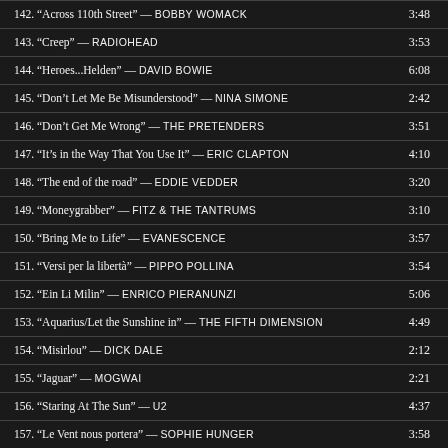142. “Across 110th Street” — BOBBY WOMACK  3:48
143. “Creep” — RADIOHEAD  3:53
144. “Heroes...Helden” — DAVID BOWIE  6:08
145. “Don’t Let Me Be Misunderstood” — NINA SIMONE  2:42
146. “Don’t Get Me Wrong” — THE PRETENDERS  3:51
147. “It’s in the Way That You Use It” — ERIC CLAPTON  4:10
148. “The end of the road” — EDDIE VEDDER  3:20
149. “Moneygrabber” — FITZ & THE TANTRUMS  3:10
150. “Bring Me to Life” — EVANESCENCE  3:57
151. “Versi per la libertà” — PIPPO POLLINA  3:54
152. “Ein Li Milin” — ENRICO PIERANUNZI  5:06
153. “Aquarius/Let the Sunshine in” — THE FIFTH DIMENSION  4:49
154. “Misirlou” — DICK DALE  2:12
155. “Jaguar” — MOGWAI  2:21
156. “Staring At The Sun” — U2  4:37
157. “Le Vent nous portera” — SOPHIE HUNGER  3:58
158. “Mad World” — GARY JULES  3:02
159. “Lacio Drom” — LITFIBA  4:13
160. “Kryptonite” — IVAN GRAZIANI  3:24
161. “Shape of My Heart” — STING  4:37